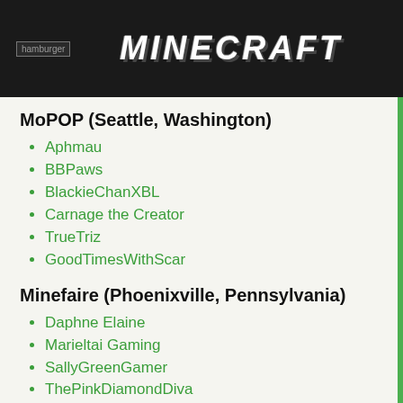hamburger | MINECRAFT
MoPOP (Seattle, Washington)
Aphmau
BBPaws
BlackieChanXBL
Carnage the Creator
TrueTriz
GoodTimesWithScar
Minefaire (Phoenixville, Pennsylvania)
Daphne Elaine
Marieltai Gaming
SallyGreenGamer
ThePinkDiamondDiva
Minevention (Cork, Ireland)